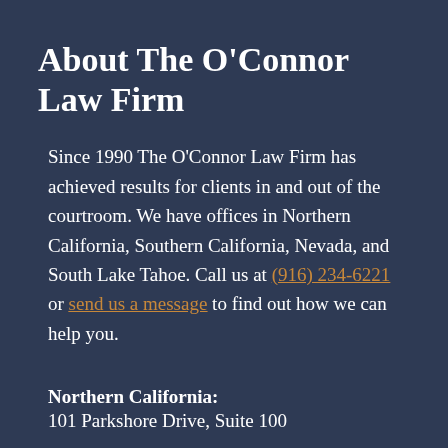About The O'Connor Law Firm
Since 1990 The O'Connor Law Firm has achieved results for clients in and out of the courtroom. We have offices in Northern California, Southern California, Nevada, and South Lake Tahoe. Call us at (916) 234-6221 or send us a message to find out how we can help you.
Northern California:
101 Parkshore Drive, Suite 100